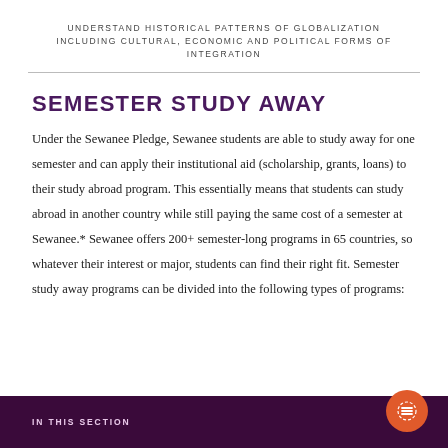UNDERSTAND HISTORICAL PATTERNS OF GLOBALIZATION INCLUDING CULTURAL, ECONOMIC AND POLITICAL FORMS OF INTEGRATION
SEMESTER STUDY AWAY
Under the Sewanee Pledge, Sewanee students are able to study away for one semester and can apply their institutional aid (scholarship, grants, loans) to their study abroad program. This essentially means that students can study abroad in another country while still paying the same cost of a semester at Sewanee.* Sewanee offers 200+ semester-long programs in 65 countries, so whatever their interest or major, students can find their right fit. Semester study away programs can be divided into the following types of programs:
IN THIS SECTION